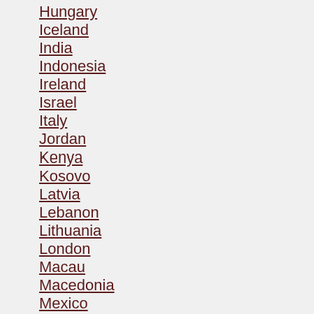Hungary
Iceland
India
Indonesia
Ireland
Israel
Italy
Jordan
Kenya
Kosovo
Latvia
Lebanon
Lithuania
London
Macau
Macedonia
Mexico
Moldova
Montenegro